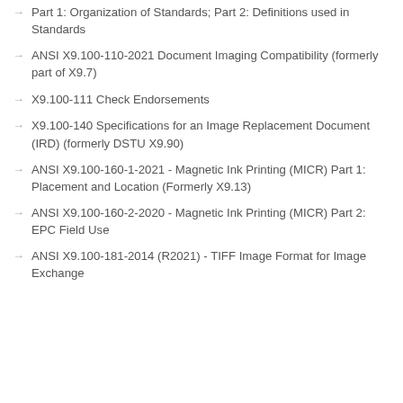Part 1: Organization of Standards; Part 2: Definitions used in Standards
ANSI X9.100-110-2021 Document Imaging Compatibility (formerly part of X9.7)
X9.100-111 Check Endorsements
X9.100-140 Specifications for an Image Replacement Document (IRD) (formerly DSTU X9.90)
ANSI X9.100-160-1-2021 - Magnetic Ink Printing (MICR) Part 1: Placement and Location (Formerly X9.13)
ANSI X9.100-160-2-2020 - Magnetic Ink Printing (MICR) Part 2: EPC Field Use
ANSI X9.100-181-2014 (R2021) - TIFF Image Format for Image Exchange